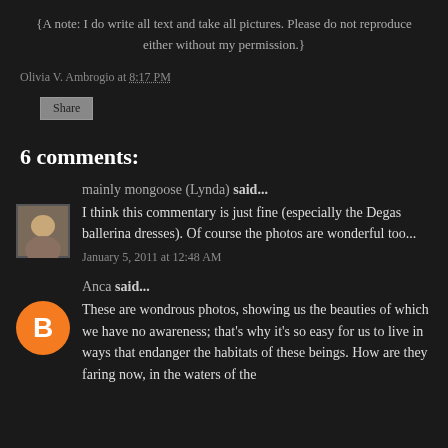{A note: I do write all text and take all pictures. Please do not reproduce either without my permission.}
Olivia V. Ambrogio at 8:17 PM
Share
6 comments:
mainly mongoose (Lynda) said...
I think this commentary is just fine (especially the Degas ballerina dresses). Of course the photos are wonderful too...
January 5, 2011 at 12:48 AM
Anca said...
These are wondrous photos, showing us the beauties of which we have no awareness; that's why it's so easy for us to live in ways that endanger the habitats of these beings. How are they faring now, in the waters of the